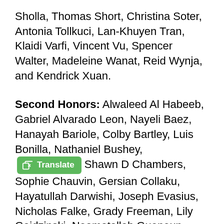Sholla, Thomas Short, Christina Soter, Antonia Tollkuci, Lan-Khuyen Tran, Klaidi Varfi, Vincent Vu, Spencer Walter, Madeleine Wanat, Reid Wynja, and Kendrick Xuan.
Second Honors: Alwaleed Al Habeeb, Gabriel Alvarado Leon, Nayeli Baez, Hanayah Bariole, Colby Bartley, Luis Bonilla, Nathaniel Bushey, Shawn D Chambers, Sophie Chauvin, Gersian Collaku, Hayatullah Darwishi, Joseph Evasius, Nicholas Falke, Grady Freeman, Lily Gajdzinski, Neamatallah Guenoun, James Hammond, Aracely Herrera, Jenna Higgins, Ryleigh Jerome, Eva Kadriu, Evan Karcasinas, Sarah Lapierre, Seamus Leary, Tomas Lera, Mikel Lolo, Armida Male, Arnaldo Marte Mendez, Kristal Mebillai, Emmanuel Mfum, Ashley